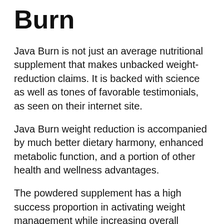Burn
Java Burn is not just an average nutritional supplement that makes unbacked weight-reduction claims. It is backed with science as well as tones of favorable testimonials, as seen on their internet site.
Java Burn weight reduction is accompanied by much better dietary harmony, enhanced metabolic function, and a portion of other health and wellness advantages.
The powdered supplement has a high success proportion in activating weight management while increasing overall health.
Java Burn is created by ingredients that have